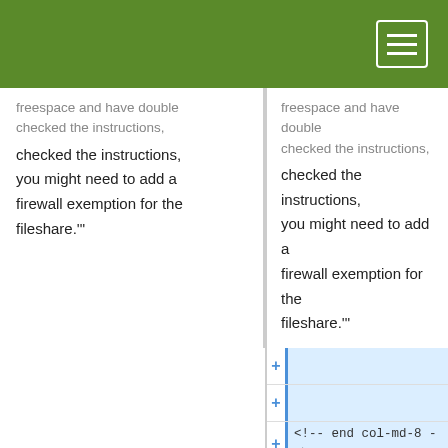[Figure (screenshot): Green navigation header bar with hamburger menu button (three white horizontal lines in a white-bordered box) in the top right corner]
freespace and have double checked the instructions, you might need to add a firewall exemption for the fileshare.'"
freespace and have double checked the instructions, you might need to add a firewall exemption for the fileshare.'"
+
+
+ <!-- end col-md-8 -->
+ </div>
+ <div class="col-md-1"> </div>
+ <div class="col-md-3 sidebar">
+ {{GetHelp}}
+
+ <!-- end col-md-3-->